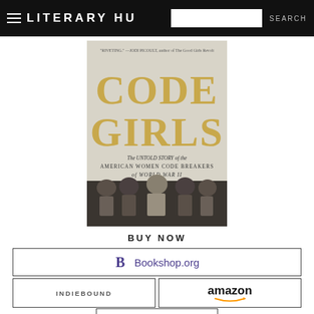LITERARY HU (Literary Hub)
[Figure (illustration): Book cover of 'Code Girls: The Untold Story of the American Women Code Breakers of World War II' showing large gold text 'CODE GIRLS' with subtitle and a black and white photo of five young women in uniform.]
BUY NOW
Bookshop.org
INDIEBOUND
amazon
BARNES & NOBLE